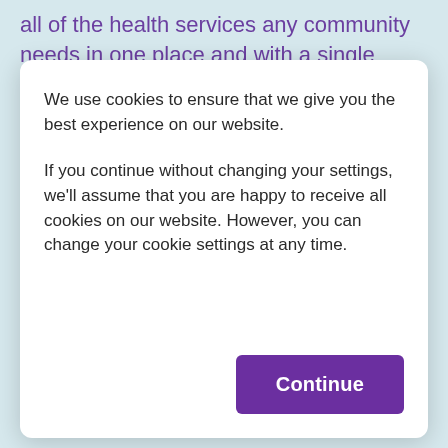all of the health services any community needs in one place and with a single team. These range from reception health checks on arrival and regular GP services, to help with substance misuse, mental health, chronic or long-term conditions, podiatry,
We use cookies to ensure that we give you the best experience on our website.
If you continue without changing your settings, we'll assume that you are happy to receive all cookies on our website. However, you can change your cookie settings at any time.